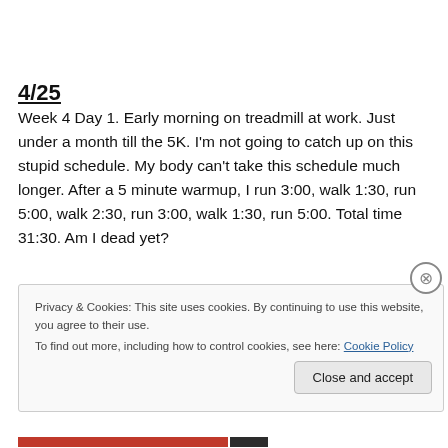4/25
Week 4 Day 1. Early morning on treadmill at work. Just under a month till the 5K. I'm not going to catch up on this stupid schedule. My body can't take this schedule much longer. After a 5 minute warmup, I run 3:00, walk 1:30, run 5:00, walk 2:30, run 3:00, walk 1:30, run 5:00. Total time 31:30. Am I dead yet?
Privacy & Cookies: This site uses cookies. By continuing to use this website, you agree to their use.
To find out more, including how to control cookies, see here: Cookie Policy